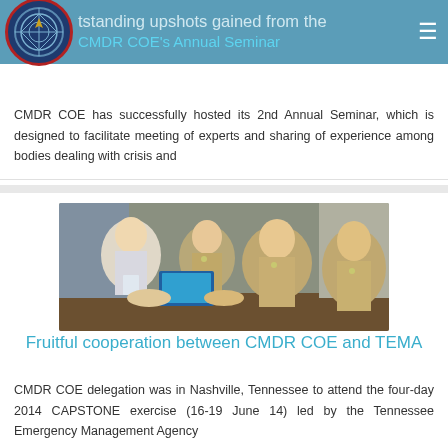outstanding upshots gained from the CMDR COE's Annual Seminar
CMDR COE's Annual Seminar
CMDR COE has successfully hosted its 2nd Annual Seminar, which is designed to facilitate meeting of experts and sharing of experience among bodies dealing with crisis and
[Figure (photo): Group photo of military personnel and a civilian seated at a conference table, smiling at the camera.]
Fruitful cooperation between CMDR COE and TEMA
CMDR COE delegation was in Nashville, Tennessee to attend the four-day 2014 CAPSTONE exercise (16-19 June 14) led by the Tennessee Emergency Management Agency